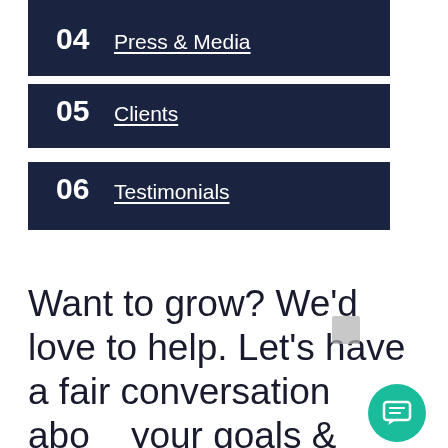04 Press & Media
05 Clients
06 Testimonials
Want to grow? We'd love to help. Let's have a fair conversation about your goals & how to